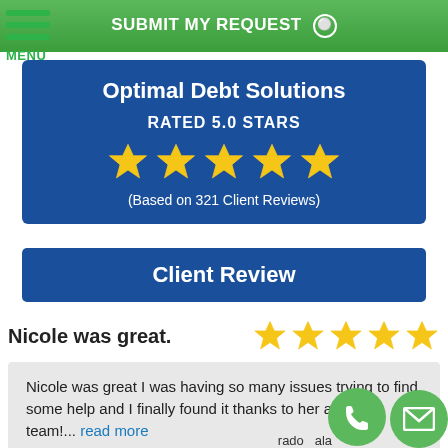[Figure (screenshot): Green button bar at top with text SUBMIT MY REQUEST and a globe icon]
[Figure (infographic): Menu hamburger icon with three green lines and MENU label]
Optimal Debt Solutions
RATED 5.0 STARS
[Figure (infographic): Five gold star icons representing 5.0 star rating]
(Based on 321 Client Reviews)
Client Review
Nicole was great.
[Figure (infographic): Five gold star icons for client review rating]
Nicole was great I was having so many issues trying to find some help and I finally found it thanks to her and the team!... read more